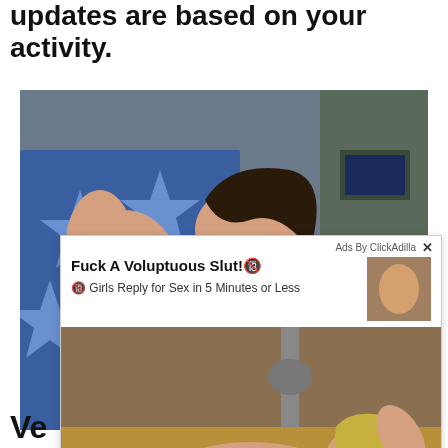regardless on streaming, this friends updates are based on your activity.
[Figure (photo): Photo of a person lying on a blue star-patterned blanket/bedding]
[Figure (screenshot): Ad overlay from ClickAdilla with adult content advertisement showing title 'Fuck A Voluptuous Slut!' and subtitle 'Girls Reply for Sex in 5 Minutes or Less', with thumbnail image and large image below]
Ve...